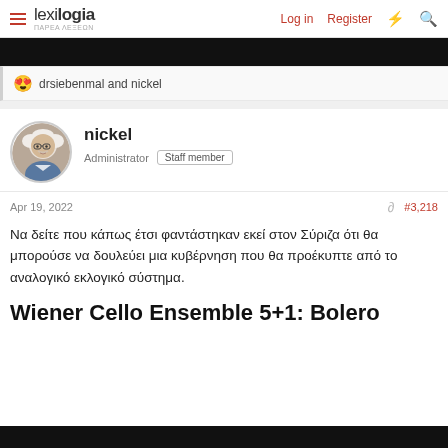lexilogia — Log in  Register
[Figure (photo): Black banner/image strip at top of forum post]
😍 drsiebenmal and nickel
[Figure (photo): Avatar of user nickel — illustrated cartoon portrait of older man with white hair and glasses]
nickel
Administrator  Staff member
Apr 19, 2022  #3,218
Να δείτε που κάπως έτσι φαντάστηκαν εκεί στον Σύριζα ότι θα μπορούσε να δουλεύει μια κυβέρνηση που θα προέκυπτε από το αναλογικό εκλογικό σύστημα.
Wiener Cello Ensemble 5+1: Bolero